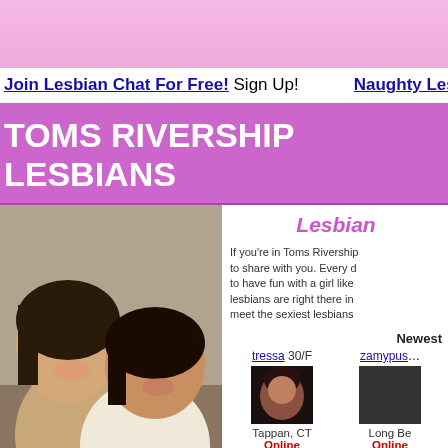[Figure (other): Pink banner at top of webpage]
Join Lesbian Chat For Free! Sign Up!   Naughty Lesbians In Y...
TOMS RIVERSHIP LESBIANS
[Figure (photo): Photo of two smiling women posing together]
Lesbian...
If you're in Toms Rivership... to share with you. Every d... to have fun with a girl like... lesbians are right there in... meet the sexiest lesbians...
Newest
tressa 30/F
zamypuss...
[Figure (photo): Small thumbnail photo of a woman with dark hair]
Tappan, CT
Online
Long Be...
Online